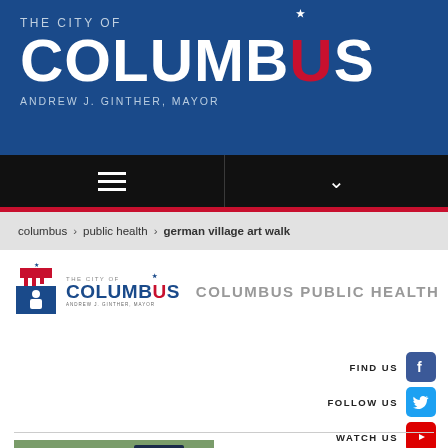[Figure (logo): The City of Columbus, Andrew J. Ginther Mayor header banner with blue background]
[Figure (screenshot): Navigation bar with hamburger menu and dropdown chevron on black background]
columbus › public health › german village art walk
[Figure (logo): The City of Columbus, Andrew J. Ginther Mayor logo with Columbus Public Health text]
[Figure (infographic): Social media links: FIND US (Facebook), FOLLOW US (Twitter), WATCH US (YouTube)]
[Figure (photo): Photo of a person looking at a Columbus Art Walk sign]